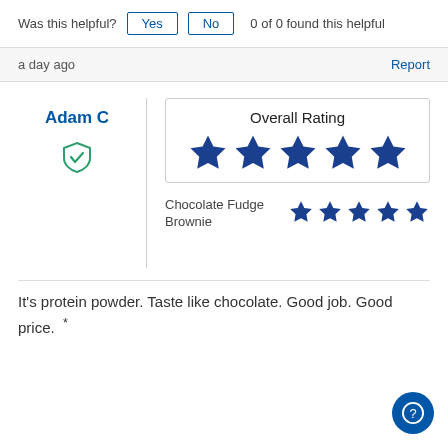Was this helpful? Yes No 0 of 0 found this helpful
a day ago
Report
Adam C
[Figure (illustration): Verified checkmark shield icon in green]
Overall Rating
[Figure (illustration): 5 filled blue stars representing overall rating]
Chocolate Fudge Brownie
[Figure (illustration): 5 filled blue stars representing Chocolate Fudge Brownie rating]
It's protein powder. Taste like chocolate. Good job. Good price.  *